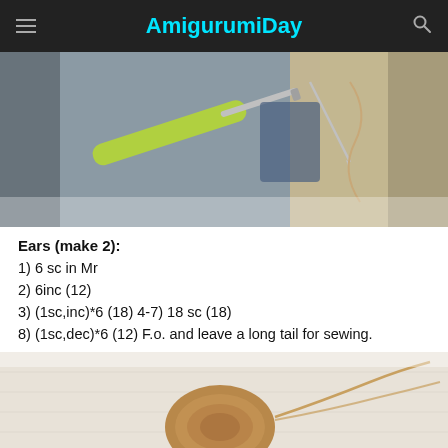AmigurumiDay
[Figure (photo): Close-up photo of a crochet hook being used on knitted fabric, with a sewing needle visible and yarn]
Ears (make 2):
1) 6 sc in Mr
2) 6inc (12)
3) (1sc,inc)*6 (18) 4-7) 18 sc (18)
8) (1sc,dec)*6 (12) F.o. and leave a long tail for sewing.
[Figure (photo): Close-up photo of a crocheted round ear piece in tan/brown yarn with a trailing thread on a white fabric background]